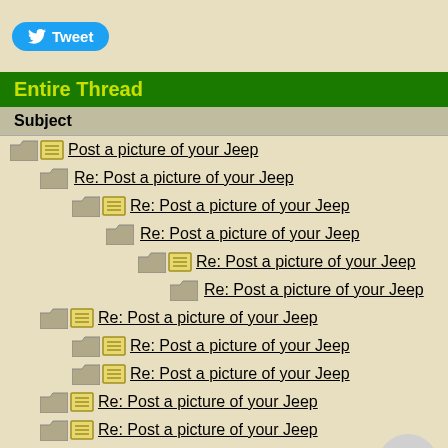[Figure (screenshot): Twitter Tweet button with blue background and bird icon]
Entire Thread
Subject
Post a picture of your Jeep
Re: Post a picture of your Jeep
Re: Post a picture of your Jeep
Re: Post a picture of your Jeep
Re: Post a picture of your Jeep
Re: Post a picture of your Jeep
Re: Post a picture of your Jeep
Re: Post a picture of your Jeep
Re: Post a picture of your Jeep
Re: Post a picture of your Jeep
Re: Post a picture of your Jeep
Re: Post a picture of your Jeep
Re: Post a picture of your Jeep
Re: Post a picture of your Jeep